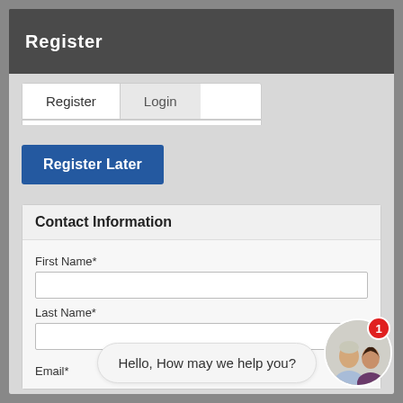Register
Register
Login
Register Later
Contact Information
First Name*
Last Name*
Hello, How may we help you?
Email*
[Figure (photo): Chat widget with two people (a man and a woman) in a circular avatar, a red notification badge showing '1', and a speech bubble saying 'Hello, How may we help you?']